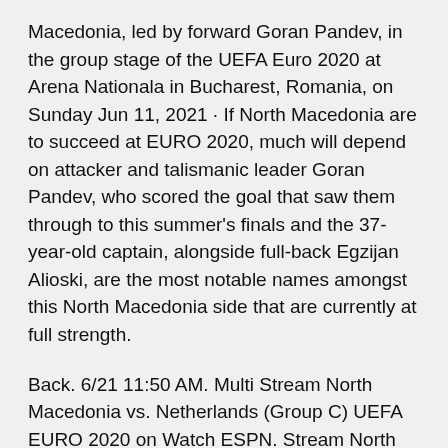Macedonia, led by forward Goran Pandev, in the group stage of the UEFA Euro 2020 at Arena Nationala in Bucharest, Romania, on Sunday Jun 11, 2021 · If North Macedonia are to succeed at EURO 2020, much will depend on attacker and talismanic leader Goran Pandev, who scored the goal that saw them through to this summer's finals and the 37-year-old captain, alongside full-back Egzijan Alioski, are the most notable names amongst this North Macedonia side that are currently at full strength.
Back. 6/21 11:50 AM. Multi Stream North Macedonia vs. Netherlands (Group C) UEFA EURO 2020 on Watch ESPN. Stream North Macedonia vs. Netherlands (Group C) UEFA EURO 2020 on Watch ESPN. Back. 6/21 9:00 PM. · NORTH MACEDONIA .